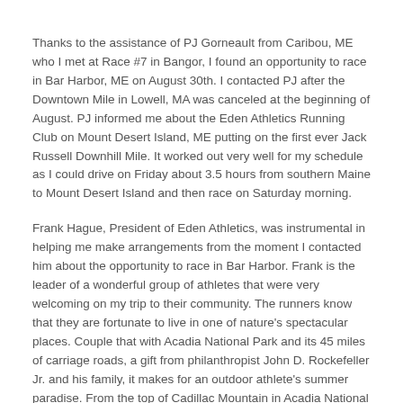Thanks to the assistance of PJ Gorneault from Caribou, ME who I met at Race #7 in Bangor, I found an opportunity to race in Bar Harbor, ME on August 30th. I contacted PJ after the Downtown Mile in Lowell, MA was canceled at the beginning of August. PJ informed me about the Eden Athletics Running Club on Mount Desert Island, ME putting on the first ever Jack Russell Downhill Mile. It worked out very well for my schedule as I could drive on Friday about 3.5 hours from southern Maine to Mount Desert Island and then race on Saturday morning.
Frank Hague, President of Eden Athletics, was instrumental in helping me make arrangements from the moment I contacted him about the opportunity to race in Bar Harbor. Frank is the leader of a wonderful group of athletes that were very welcoming on my trip to their community. The runners know that they are fortunate to live in one of nature's spectacular places. Couple that with Acadia National Park and its 45 miles of carriage roads, a gift from philanthropist John D. Rockefeller Jr. and his family, it makes for an outdoor athlete's summer paradise. From the top of Cadillac Mountain in Acadia National Park, the sunrise can be